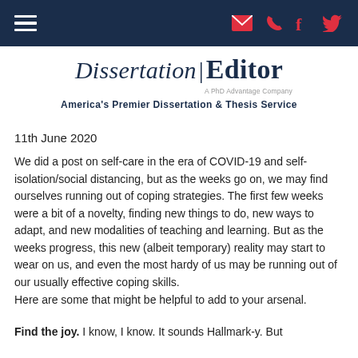Navigation bar with hamburger menu and social icons (email, phone, facebook, twitter)
Dissertation | Editor — A PhD Advantage Company — America's Premier Dissertation & Thesis Service
11th June 2020
We did a post on self-care in the era of COVID-19 and self-isolation/social distancing, but as the weeks go on, we may find ourselves running out of coping strategies. The first few weeks were a bit of a novelty, finding new things to do, new ways to adapt, and new modalities of teaching and learning. But as the weeks progress, this new (albeit temporary) reality may start to wear on us, and even the most hardy of us may be running out of our usually effective coping skills.
Here are some that might be helpful to add to your arsenal.
Find the joy. I know, I know. It sounds Hallmark-y. But